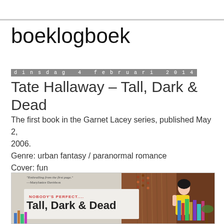boeklogboek
dinsdag 4 februari 2014
Tate Hallaway – Tall, Dark & Dead
The first book in the Garnet Lacey series, published May 2, 2006.
Genre: urban fantasy / paranormal romance
Cover: fun
[Figure (illustration): Book cover of Tall, Dark & Dead by Tate Hallaway showing a cartoon illustration of a woman with black hair in a yellow dress in a bookshop. Text on cover: 'Enthralling from the first page.' —MaryJanice Davidson. NOBODY'S PERFECT.... Tall, Dark & Dead]